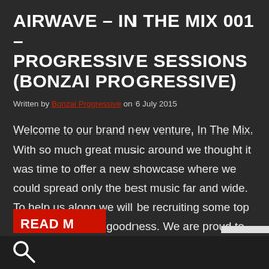AIRWAVE – IN THE MIX 001 – PROGRESSIVE SESSIONS (BONZAI PROGRESSIVE)
Written by Bonzai Progressive on 6 July 2015
Welcome to our brand new venture, In The Mix. With so much great music around we thought it was time to offer a new showcase where we could spread only the best music far and wide. To help us along we will be recruiting some top DJ's to deliver the goodness. We are proud to [...]